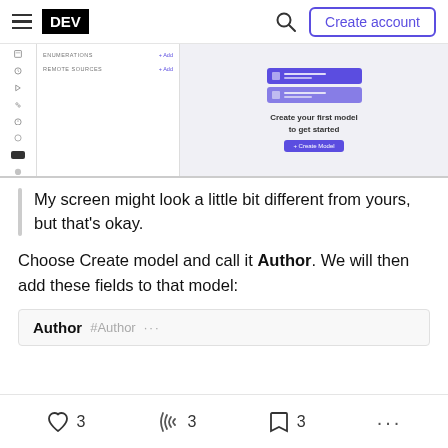DEV — Create account
[Figure (screenshot): Screenshot of a DEV.to app interface showing a sidebar with icons and menu items (ENUMERATIONS, REMOTE SOURCES) and a main panel with 'Create your first model to get started' and a '+ Create Model' button]
My screen might look a little bit different from yours, but that's okay.
Choose Create model and call it Author. We will then add these fields to that model:
Author #Author ...